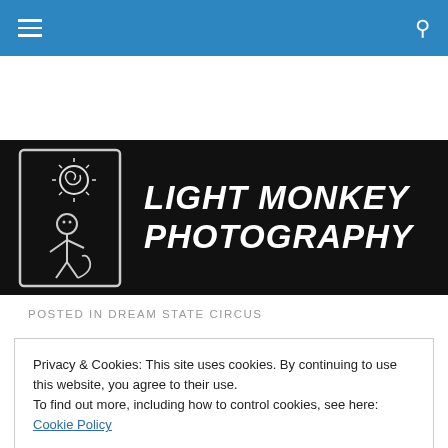Navigation bar with menu and search icons
[Figure (logo): Light Monkey Photography logo banner: black background with hand-drawn sketch of a monkey and sun on left, and bold italic white text 'LIGHT MONKEY PHOTOGRAPHY' on right]
POSTED IN DREAM STATE CIRCUS
Privacy & Cookies: This site uses cookies. By continuing to use this website, you agree to their use.
To find out more, including how to control cookies, see here: Cookie Policy
Close and accept